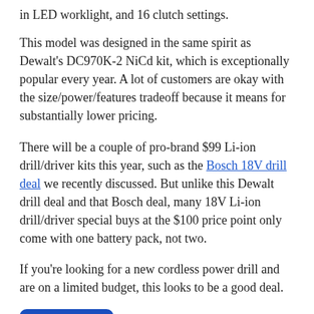in LED worklight, and 16 clutch settings.
This model was designed in the same spirit as Dewalt's DC970K-2 NiCd kit, which is exceptionally popular every year. A lot of customers are okay with the size/power/features tradeoff because it means for substantially lower pricing.
There will be a couple of pro-brand $99 Li-ion drill/driver kits this year, such as the Bosch 18V drill deal we recently discussed. But unlike this Dewalt drill deal and that Bosch deal, many 18V Li-ion drill/driver special buys at the $100 price point only come with one battery pack, not two.
If you're looking for a new cordless power drill and are on a limited budget, this looks to be a good deal.
Buy Now (via Home Depot)